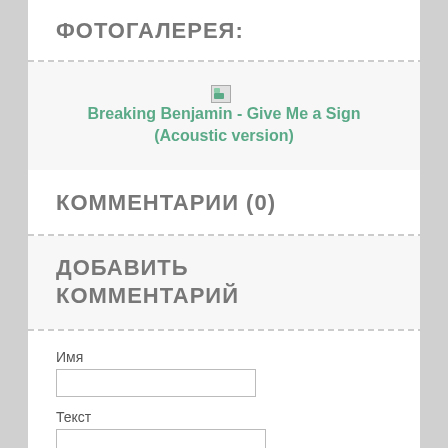ФОТОГАЛЕРЕЯ:
[Figure (illustration): Broken image icon with link: Breaking Benjamin - Give Me a Sign (Acoustic version)]
КОММЕНТАРИИ (0)
ДОБАВИТЬ КОММЕНТАРИЙ
Имя
Текст